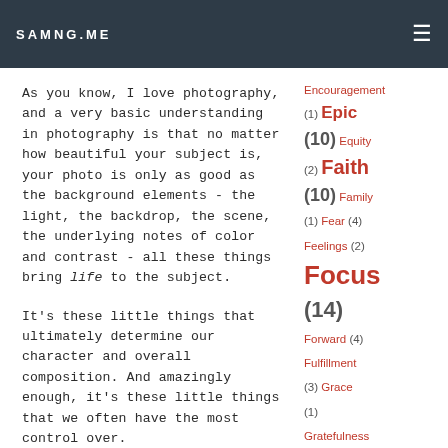SAMNG.ME
As you know, I love photography, and a very basic understanding in photography is that no matter how beautiful your subject is, your photo is only as good as the background elements - the light, the backdrop, the scene, the underlying notes of color and contrast - all these things bring life to the subject.
It's these little things that ultimately determine our character and overall composition. And amazingly enough, it's these little things that we often have the most control over.
Encouragement
(1) Epic
(10) Equity
(2) Faith
(10) Family
(1) Fear (4)
Feelings (2)
Focus (14)
Forward (4)
Fulfillment (3)
Grace (1)
Gratefulness (1)
Grit (4)
Habits (5)
Harmony